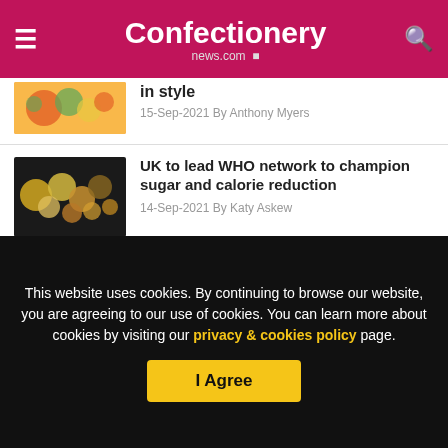Confectionery news.com
in style
15-Sep-2021 By Anthony Myers
UK to lead WHO network to champion sugar and calorie reduction
14-Sep-2021 By Katy Askew
Nestlé launches largest R+D Accelerator for food and drink innovation
This website uses cookies. By continuing to browse our website, you are agreeing to our use of cookies. You can learn more about cookies by visiting our privacy & cookies policy page.